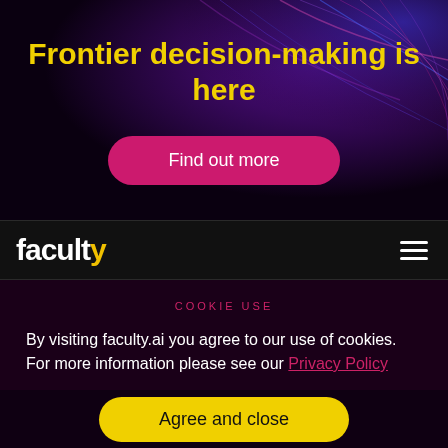Frontier decision-making is here
Find out more
[Figure (logo): Faculty logo with white bold text and hamburger menu icon on dark navbar]
COOKIE USE
By visiting faculty.ai you agree to our use of cookies. For more information please see our Privacy Policy
Agree and close